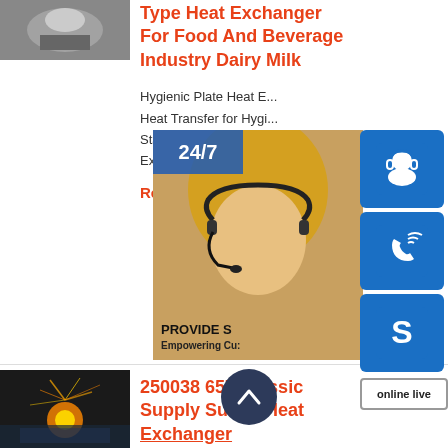Type Heat Exchanger For Food And Beverage Industry Dairy Milk
Hygienic Plate Heat E... Heat Transfer for Hygi... Stainless Steel Plate H... Exchangers fo ...
Reply
[Figure (photo): Photo of a heat exchanger product, customer service representative overlay with 24/7 badge, phone and Skype icons, and online live button]
250038 657 Classic Supply Sullair Heat Exchanger